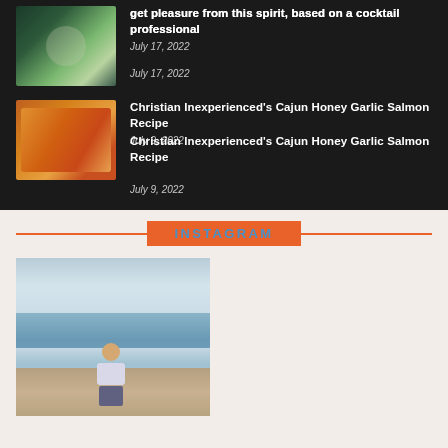get pleasure from this spirit, based on a cocktail professional
July 17, 2022
Christian Inexperienced's Cajun Honey Garlic Salmon Recipe
July 9, 2022
INSTAGRAM
[Figure (photo): Person sitting in ocean waves on a beach, cloudy sky in background]